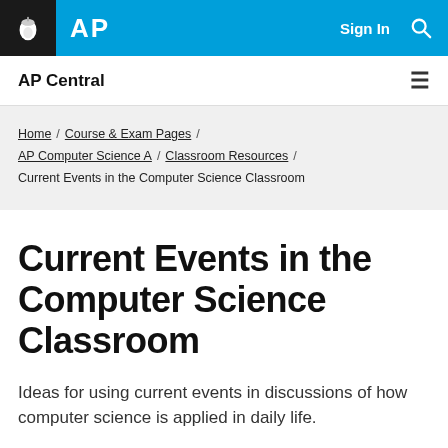AP — Sign In [search icon]
AP Central ≡
Home / Course & Exam Pages / AP Computer Science A / Classroom Resources / Current Events in the Computer Science Classroom
Current Events in the Computer Science Classroom
Ideas for using current events in discussions of how computer science is applied in daily life.